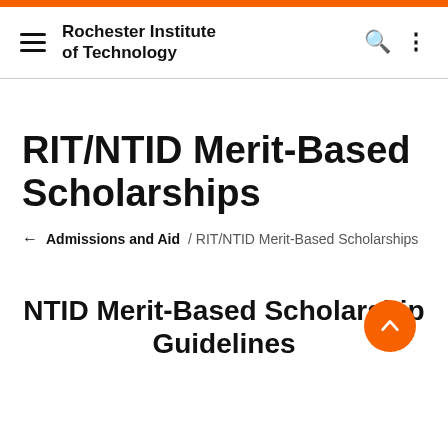Rochester Institute of Technology
RIT/NTID Merit-Based Scholarships
← Admissions and Aid / RIT/NTID Merit-Based Scholarships
NTID Merit-Based Scholarship Guidelines